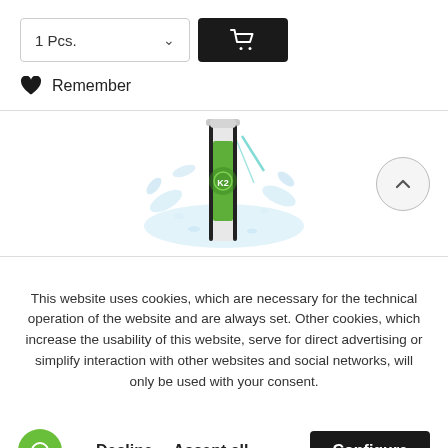[Figure (screenshot): Quantity selector showing '1 Pcs.' with dropdown chevron and a black add-to-cart button with shopping cart icon]
Remember
[Figure (photo): Product bottle with green label and water splash effect, with a scroll-up arrow button on the right]
This website uses cookies, which are necessary for the technical operation of the website and are always set. Other cookies, which increase the usability of this website, serve for direct advertising or simplify interaction with other websites and social networks, will only be used with your consent.
Decline  Accept all  Configure